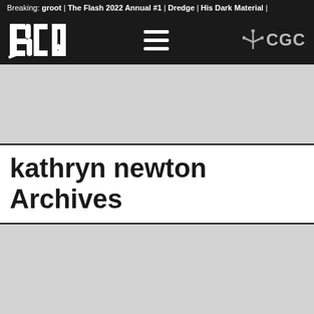Breaking: groot | The Flash 2022 Annual #1 | Dredge | His Dark Material |
[Figure (logo): BCQ logo in white on black background, left side of nav bar]
[Figure (logo): Hamburger menu icon (three white horizontal lines) in center of nav bar]
[Figure (logo): CGC scales-of-justice logo with text CGC in gray, right side of nav bar]
[Figure (other): Gray advertisement placeholder banner]
kathryn newton Archives
[Figure (other): Gray content placeholder box]